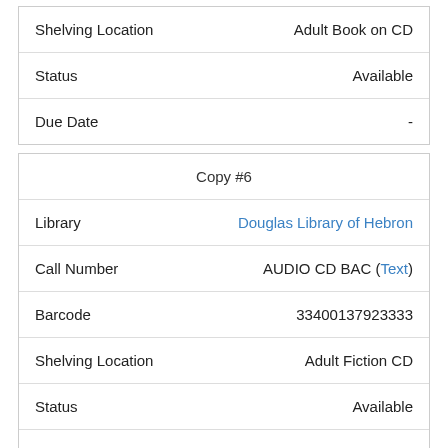| Shelving Location | Adult Book on CD |
| Status | Available |
| Due Date | - |
| Copy #6 |
| --- |
| Library | Douglas Library of Hebron |
| Call Number | AUDIO CD BAC (Text) |
| Barcode | 33400137923333 |
| Shelving Location | Adult Fiction CD |
| Status | Available |
| Due Date | - |